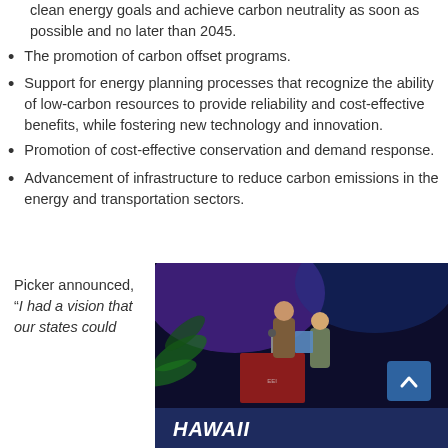clean energy goals and achieve carbon neutrality as soon as possible and no later than 2045.
The promotion of carbon offset programs.
Support for energy planning processes that recognize the ability of low-carbon resources to provide reliability and cost-effective benefits, while fostering new technology and innovation.
Promotion of cost-effective conservation and demand response.
Advancement of infrastructure to reduce carbon emissions in the energy and transportation sectors.
Picker announced, “I had a vision that our states could
[Figure (photo): Photo of people at a podium at a Hawaii event, with tropical plant decorations and a HAWAII banner visible at the bottom]